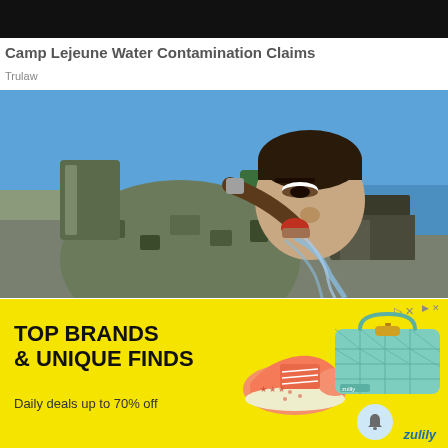[Figure (other): Black bar at top of page, likely a video player or navigation bar]
Camp Lejeune Water Contamination Claims
Trulaw
[Figure (photo): A young male Marine in camouflage uniform drinking from a hose outdoors near a waterfront, with military equipment in the background and blue sky above]
[Figure (infographic): Advertisement for Zulily: 'TOP BRANDS & UNIQUE FINDS — Daily deals up to 70% off' with images of a pink shoe and a teal quilted bag on a yellow background]